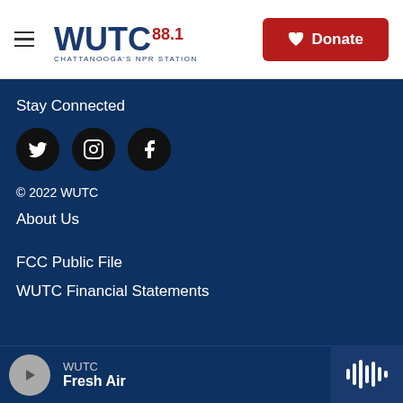[Figure (logo): WUTC 88.1 Chattanooga's NPR Station logo in blue and navy text]
[Figure (other): Red donate button with heart icon]
Stay Connected
[Figure (other): Social media icons: Twitter (bird), Instagram, Facebook on black circles]
© 2022 WUTC
About Us
FCC Public File
WUTC Financial Statements
WUTC
Fresh Air